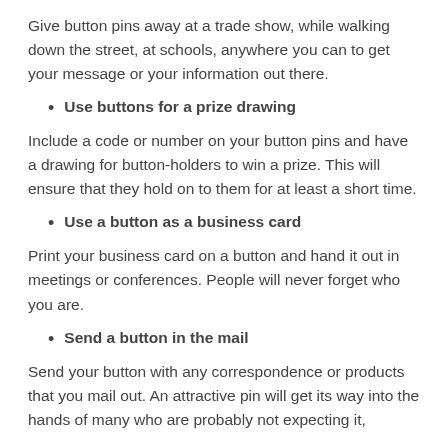Give button pins away at a trade show, while walking down the street, at schools, anywhere you can to get your message or your information out there.
Use buttons for a prize drawing
Include a code or number on your button pins and have a drawing for button-holders to win a prize. This will ensure that they hold on to them for at least a short time.
Use a button as a business card
Print your business card on a button and hand it out in meetings or conferences. People will never forget who you are.
Send a button in the mail
Send your button with any correspondence or products that you mail out. An attractive pin will get its way into the hands of many who are probably not expecting it,